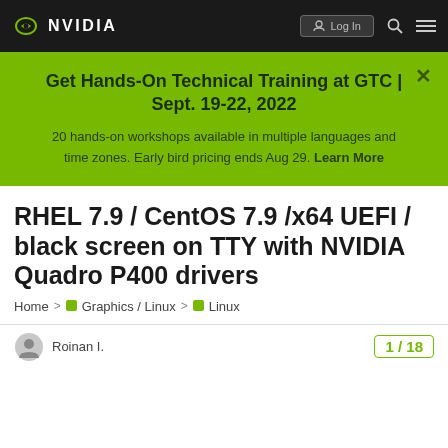NVIDIA (logo) | Log In | Search | Menu
Get Hands-On Technical Training at GTC | Sept. 19-22, 2022
20 hands-on workshops available in multiple languages and time zones. Early bird pricing ends Aug 29. Learn More
RHEL 7.9 / CentOS 7.9 /x64 UEFI / black screen on TTY with NVIDIA Quadro P400 drivers
Home > Graphics / Linux > Linux
Roinan I. — 1 / 18